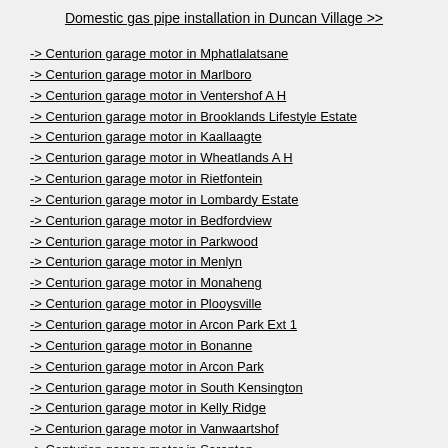Domestic gas pipe installation in Duncan Village >>
-> Centurion garage motor in Mphatlalatsane
-> Centurion garage motor in Marlboro
-> Centurion garage motor in Ventershof A H
-> Centurion garage motor in Brooklands Lifestyle Estate
-> Centurion garage motor in Kaallaagte
-> Centurion garage motor in Wheatlands A H
-> Centurion garage motor in Rietfontein
-> Centurion garage motor in Lombardy Estate
-> Centurion garage motor in Bedfordview
-> Centurion garage motor in Parkwood
-> Centurion garage motor in Menlyn
-> Centurion garage motor in Monaheng
-> Centurion garage motor in Plooysville
-> Centurion garage motor in Arcon Park Ext 1
-> Centurion garage motor in Bonanne
-> Centurion garage motor in Arcon Park
-> Centurion garage motor in South Kensington
-> Centurion garage motor in Kelly Ridge
-> Centurion garage motor in Vanwaartshof
-> Centurion garage motor in Saranton
-> Centurion garage motor in Samrand Business Park
-> Centurion garage motor in Hartbeesfontein
-> Centurion garage motor in Ashlea Gardens
-> Centurion garage motor in Wychbeer